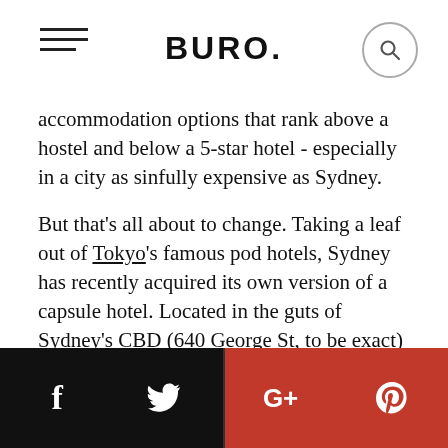BURO.
accommodation options that rank above a hostel and below a 5-star hotel - especially in a city as sinfully expensive as Sydney.

But that's all about to change. Taking a leaf out of Tokyo's famous pod hotels, Sydney has recently acquired its own version of a capsule hotel. Located in the guts of Sydney's CBD (640 George St, to be exact) The Capsule Hotel is a 70-bed boutique stay for the budget-conscious traveller who wants to be within walking distance to attractions like Hyde Park, the Opera House and Pitt St Mall. While admittedly, it's not the first pocket-sized hotel in Sydney (The Pod Sydney is another) and it's not exactly boasting Park Hyatt
f  t  G+  p